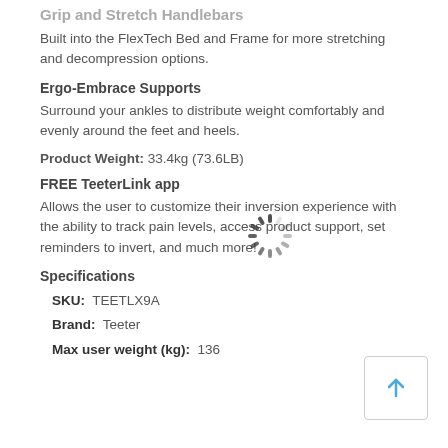Grip and Stretch Handlebars
Built into the FlexTech Bed and Frame for more stretching and decompression options.
Ergo-Embrace Supports
Surround your ankles to distribute weight comfortably and evenly around the feet and heels.
Product Weight: 33.4kg (73.6LB)
FREE TeeterLink app
Allows the user to customize their inversion experience with the ability to track pain levels, access product support, set reminders to invert, and much more!
Specifications
SKU: TEETLX9A
Brand: Teeter
Max user weight (kg): 136